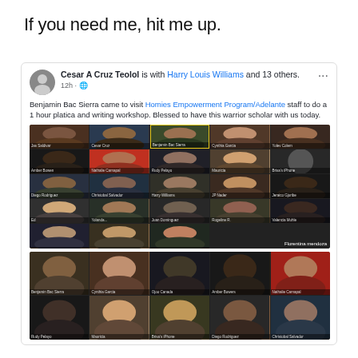If you need me, hit me up.
[Figure (screenshot): Facebook post by Cesar A Cruz Teolol with Harry Louis Williams and 13 others, 12 hours ago. Text: Benjamin Bac Sierra came to visit Homies Empowerment Program/Adelante staff to do a 1 hour platica and writing workshop. Blessed to have this warrior scholar with us today. Below are two Zoom meeting screenshots showing multiple participants in a video call grid.]